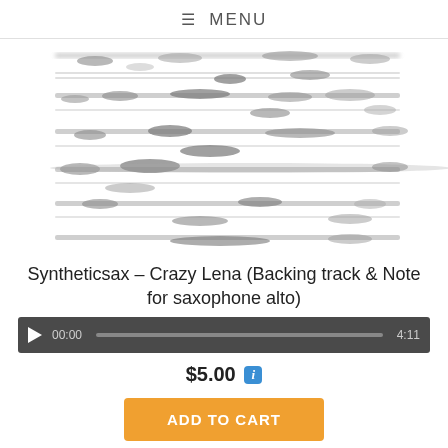≡ MENU
[Figure (illustration): Blurred sheet music notation showing multiple lines of musical notes and staffs, obscured for preview purposes]
Syntheticsax – Crazy Lena (Backing track & Note for saxophone alto)
[Figure (other): Audio player bar with play button, time 00:00, progress bar, and total duration 4:11]
$5.00 i
ADD TO CART